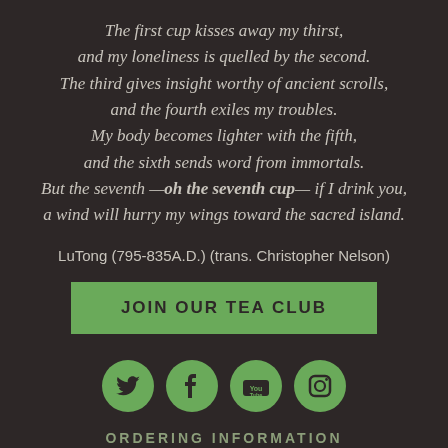The first cup kisses away my thirst,
and my loneliness is quelled by the second.
The third gives insight worthy of ancient scrolls,
and the fourth exiles my troubles.
My body becomes lighter with the fifth,
and the sixth sends word from immortals.
But the seventh —oh the seventh cup— if I drink you,
a wind will hurry my wings toward the sacred island.
LuTong (795-835A.D.) (trans. Christopher Nelson)
JOIN OUR TEA CLUB
[Figure (infographic): Four green circular social media icons: Twitter bird, Facebook f, YouTube play button, Instagram camera]
ORDERING INFORMATION
About Us